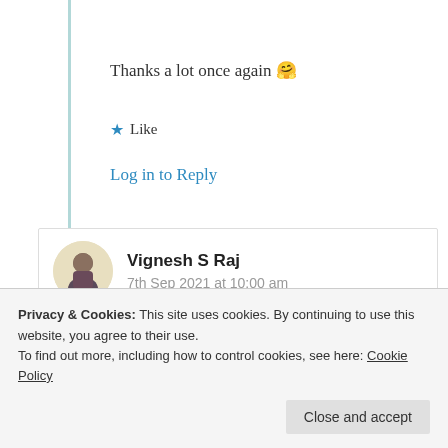Thanks a lot once again 🤗
★ Like
Log in to Reply
Vignesh S Raj
7th Sep 2021 at 10:00 am
Suma, this has to be the one I like the most of all I
Privacy & Cookies: This site uses cookies. By continuing to use this website, you agree to their use.
To find out more, including how to control cookies, see here: Cookie Policy
Close and accept
★ Liked by 2 people